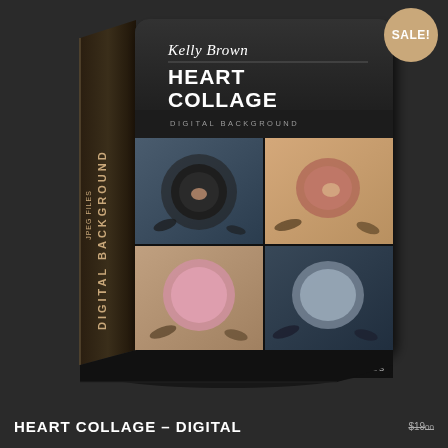[Figure (illustration): Product box for Heart Collage Digital Background by Kelly Brown, a 3D rendered box with dark background showing newborn photography in a 4-panel collage grid, with SALE badge in top right corner]
HEART COLLAGE – DIGITAL
$19...